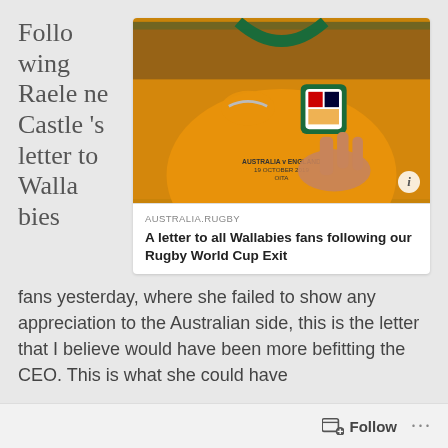Following Raelene Castle's letter to Wallabies fans yesterday, where she failed to show any appreciation to the Australian side, this is the letter that I believe would have been more befitting the CEO. This is what she could have
[Figure (photo): Close-up photo of a person wearing a gold/yellow Australian Wallabies rugby jersey with green trim. The jersey shows text 'AUSTRALIA v ENGLAND 19 OCTOBER 2019 OITA'. A hand is visible gesturing.]
AUSTRALIA.RUGBY
A letter to all Wallabies fans following our Rugby World Cup Exit
Follow ...